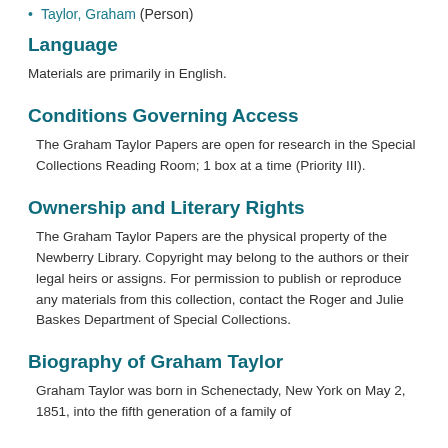Taylor, Graham (Person)
Language
Materials are primarily in English.
Conditions Governing Access
The Graham Taylor Papers are open for research in the Special Collections Reading Room; 1 box at a time (Priority III).
Ownership and Literary Rights
The Graham Taylor Papers are the physical property of the Newberry Library. Copyright may belong to the authors or their legal heirs or assigns. For permission to publish or reproduce any materials from this collection, contact the Roger and Julie Baskes Department of Special Collections.
Biography of Graham Taylor
Graham Taylor was born in Schenectady, New York on May 2, 1851, into the fifth generation of a family of